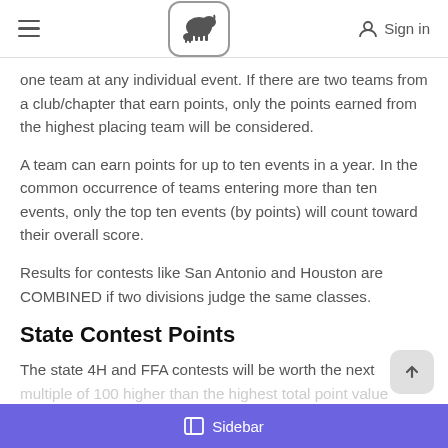Navigation bar with hamburger menu, livestock logo, and Sign in
one team at any individual event. If there are two teams from a club/chapter that earn points, only the points earned from the highest placing team will be considered.
A team can earn points for up to ten events in a year. In the common occurrence of teams entering more than ten events, only the top ten events (by points) will count toward their overall score.
Results for contests like San Antonio and Houston are COMBINED if two divisions judge the same classes.
State Contest Points
The state 4H and FFA contests will be worth the next multiple of 100 higher than the highest total point value
Sidebar